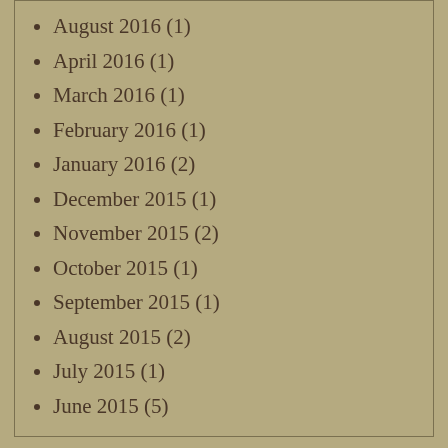August 2016 (1)
April 2016 (1)
March 2016 (1)
February 2016 (1)
January 2016 (2)
December 2015 (1)
November 2015 (2)
October 2015 (1)
September 2015 (1)
August 2015 (2)
July 2015 (1)
June 2015 (5)
Recent Posts
Railroad Ties That Bind